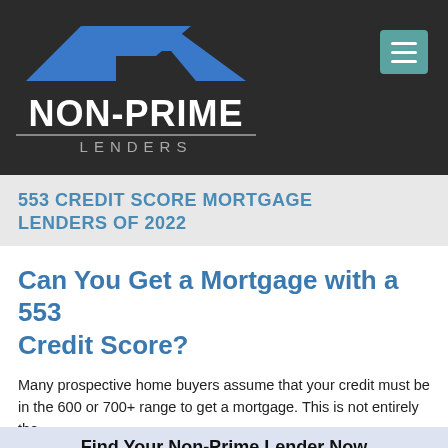[Figure (logo): Non-Prime Lenders logo with house/roof icon in blue and white on dark background]
553 CREDIT SCORE MORTGAGE LENDERS OF 2022
Can You Get a Mortgage with a 553 Credit Score?
Many prospective home buyers assume that your credit must be in the 600 or 700+ range to get a mortgage. This is not entirely the...
Find Your Non-Prime Lender Now
GET A FREE QUOTE